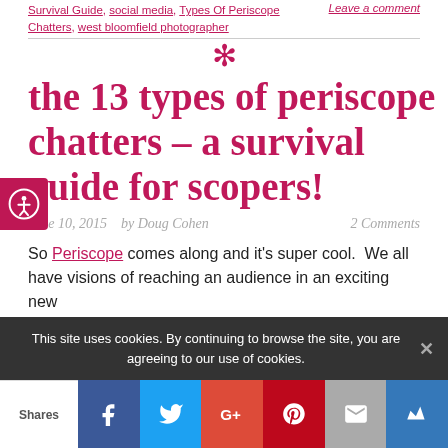Survival Guide, Social Media, Types Of Periscope Chatters, West bloomfield photographer | Leave a comment
the 13 types of periscope chatters – a survival guide for scopers!
June 10, 2015   by Doug Cohen   2 Comments
So Periscope comes along and it's super cool.  We all have visions of reaching an audience in an exciting new
This site uses cookies. By continuing to browse the site, you are agreeing to our use of cookies.